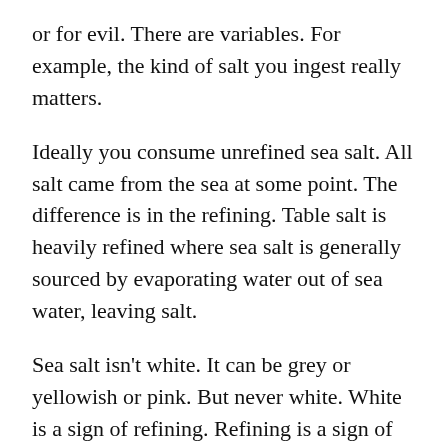or for evil. There are variables. For example, the kind of salt you ingest really matters.
Ideally you consume unrefined sea salt. All salt came from the sea at some point. The difference is in the refining. Table salt is heavily refined where sea salt is generally sourced by evaporating water out of sea water, leaving salt.
Sea salt isn't white. It can be grey or yellowish or pink. But never white. White is a sign of refining. Refining is a sign of reduced nutrients.
Sea salt contains as many as 84 trace minerals in addition to calcium, magnesium and potassium.
Table salt is primarily kiln-dried sodium chloride with anti-caking agents added. (18 food additives are